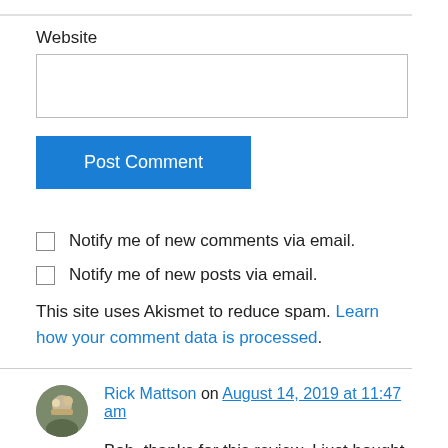Website
Post Comment
Notify me of new comments via email.
Notify me of new posts via email.
This site uses Akismet to reduce spam. Learn how your comment data is processed.
Rick Mattson on August 14, 2019 at 11:47 am
Bob, thanks for this review. I just bought the